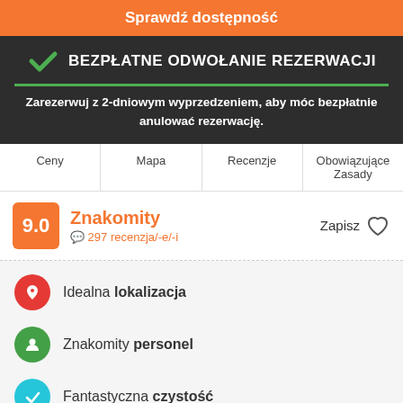Sprawdź dostępność
BEZPŁATNE ODWOŁANIE REZERWACJI
Zarezerwuj z 2-dniowym wyprzedzeniem, aby móc bezpłatnie anulować rezerwację.
Ceny
Mapa
Recenzje
Obowiązujące Zasady
9.0 Znakomity 297 recenzja/-e/-i Zapisz
Idealna lokalizacja
Znakomity personel
Fantastyczna czystość
Bay of Islands Lodge YHA Paihia offers value accommodation in central Paihia, just 250 metres from Paihia's beautiful beach.